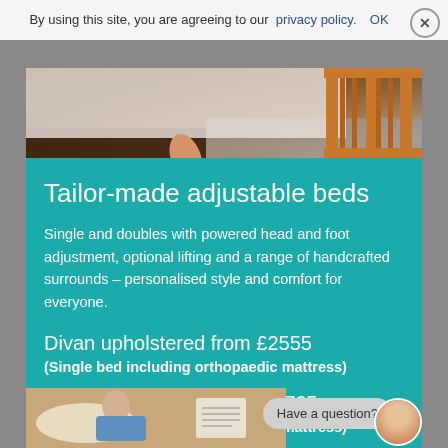By using this site, you are agreeing to our privacy policy.   OK
[Figure (photo): Photo of a wooden bed frame with bedding, viewed from foot of bed]
Tailor-made adjustable beds
Single and doubles with powered head and foot adjustment, optional lifting and a range of handcrafted surrounds – personalised style and comfort for everyone.
Divan upholstered from £2555
(Single bed including orthopaedic mattress)
Solid oak surround from £3765
(Single bed including orthopaedic mattress)
[Figure (photo): Elderly woman sitting on a bed with a document/brochure visible, and a 'Have a question?' chat popup with an advisor avatar]